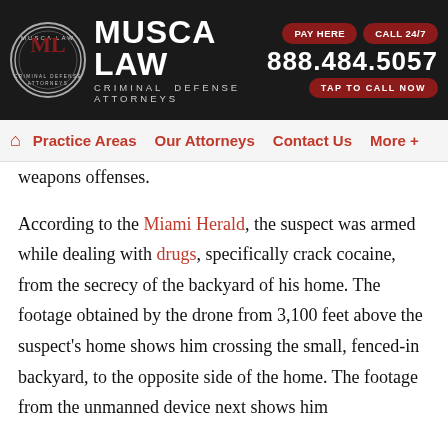[Figure (logo): Musca Law Criminal Defense Attorneys logo with circular emblem, firm name, phone number 888.484.5057, PAY HERE and CALL 24/7 buttons, and TAP TO CALL NOW button on dark background header]
Practice Areas   Our Attorneys   Contact Us   More +
weapons offenses.
According to the Miami Herald, the suspect was armed while dealing with drugs, specifically crack cocaine, from the secrecy of the backyard of his home. The footage obtained by the drone from 3,100 feet above the suspect's home shows him crossing the small, fenced-in backyard, to the opposite side of the home. The footage from the unmanned device next shows him